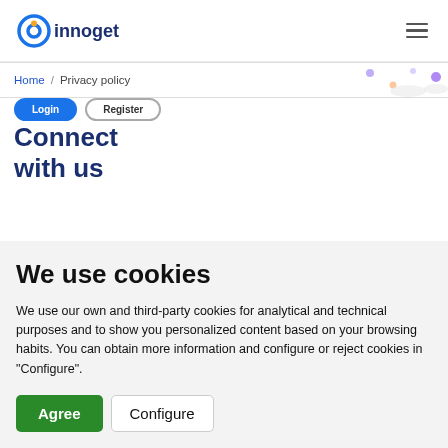innoget
Home / Privacy policy
Connect with us
We use cookies
We use our own and third-party cookies for analytical and technical purposes and to show you personalized content based on your browsing habits. You can obtain more information and configure or reject cookies in "Configure".
Agree  Configure